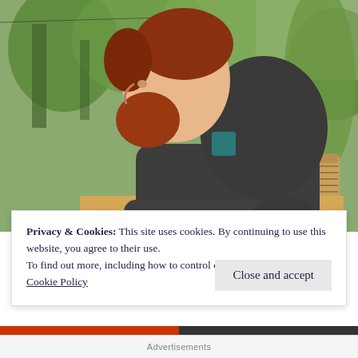[Figure (photo): Side profile of a young man with red beard and brown hoodie, seated outdoors with green trees and wooden beehives in the background]
Privacy & Cookies: This site uses cookies. By continuing to use this website, you agree to their use.
To find out more, including how to control cookies, see here:
Cookie Policy
Close and accept
Advertisements